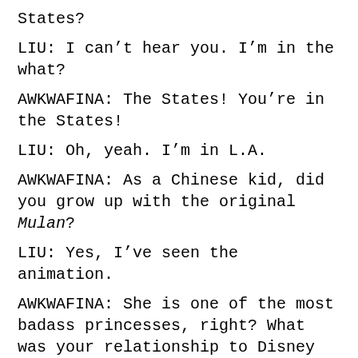States?
LIU: I can’t hear you. I’m in the what?
AWKWAFINA: The States! You’re in the States!
LIU: Oh, yeah. I’m in L.A.
AWKWAFINA: As a Chinese kid, did you grow up with the original Mulan?
LIU: Yes, I’ve seen the animation.
AWKWAFINA: She is one of the most badass princesses, right? What was your relationship to Disney movies in general?